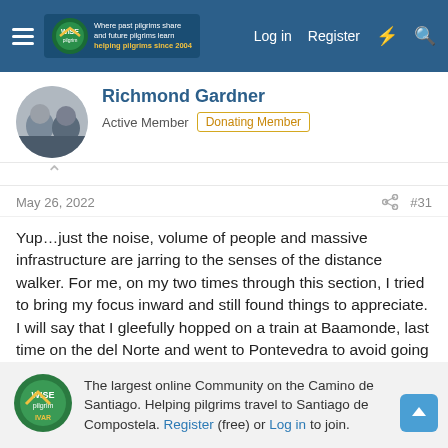The Camino de Santiago forum - Log in | Register
Richmond Gardner
Active Member | Donating Member
May 26, 2022  #31
Yup…just the noise, volume of people and massive infrastructure are jarring to the senses of the distance walker. For me, on my two times through this section, I tried to bring my focus inward and still found things to appreciate. I will say that I gleefully hopped on a train at Baamonde, last time on the del Norte and went to Pontevedra to avoid going into Santiago from the east again. And, I really enjoyed the last three stages of the PC. Also, the Invierno beckons, should I find myself at the crossroads again.
The largest online Community on the Camino de Santiago. Helping pilgrims travel to Santiago de Compostela. Register (free) or Log in to join.